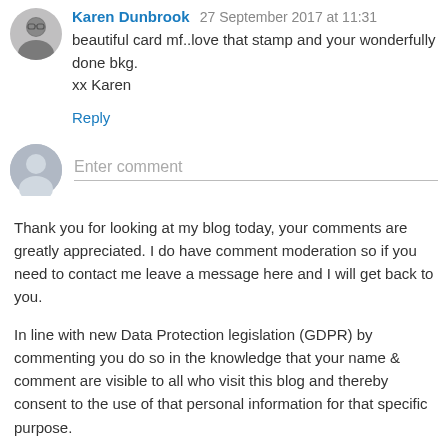Karen Dunbrook 27 September 2017 at 11:31
beautiful card mf..love that stamp and your wonderfully done bkg.
xx Karen
Reply
[Figure (other): Enter comment input area with gray user avatar icon]
Thank you for looking at my blog today, your comments are greatly appreciated. I do have comment moderation so if you need to contact me leave a message here and I will get back to you.
In line with new Data Protection legislation (GDPR) by commenting you do so in the knowledge that your name & comment are visible to all who visit this blog and thereby consent to the use of that personal information for that specific purpose.